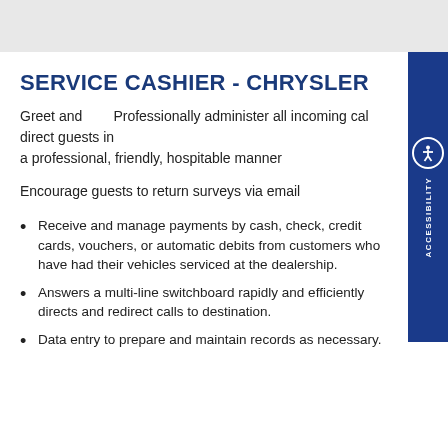SERVICE CASHIER - CHRYSLER
Greet and      Professionally administer all incoming cal direct guests in a professional, friendly, hospitable manner
Encourage guests to return surveys via email
Receive and manage payments by cash, check, credit cards, vouchers, or automatic debits from customers who have had their vehicles serviced at the dealership.
Answers a multi-line switchboard rapidly and efficiently directs and redirect calls to destination.
Data entry to prepare and maintain records as necessary.